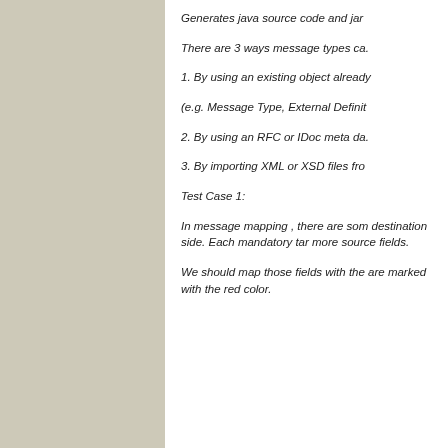Generates java source code and jar
There are 3 ways message types ca.
1. By using an existing object already
(e.g. Message Type, External Definit
2. By using an RFC or IDoc meta da.
3. By importing XML or XSD files fro
Test Case 1:
In message mapping , there are som. destination side. Each mandatory tar more source fields.
We should map those fields with the are marked with the red color.